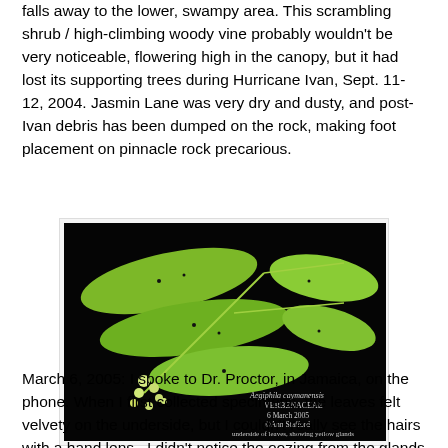falls away to the lower, swampy area. This scrambling shrub / high-climbing woody vine probably wouldn't be very noticeable, flowering high in the canopy, but it had lost its supporting trees during Hurricane Ivan, Sept. 11-12, 2004. Jasmin Lane was very dry and dusty, and post-Ivan debris has been dumped on the rock, making foot placement on pinnacle rock precarious.
[Figure (photo): Photograph of Aegiphila caymanensis (VERBENACEAE) showing leaves and flowers on a black background, with text overlay: 'Aegiphila caymanensis VERBENACEAE 6 March 2005 ©Ann Stafford underside of leaves, showing yellow glands']
March 6, 2005: I spoke to Dr. Proctor, in Jamaica, on the phone. When I first collected specimens, the leaves felt velvety on the underside, but I couldn't really see the hairs with a hand lens.  I didn't notice the oozing from the glands on the undersides of the leaves until I had put specimens